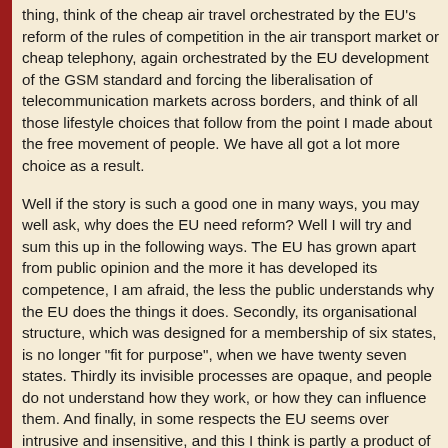thing, think of the cheap air travel orchestrated by the EU's reform of the rules of competition in the air transport market or cheap telephony, again orchestrated by the EU development of the GSM standard and forcing the liberalisation of telecommunication markets across borders, and think of all those lifestyle choices that follow from the point I made about the free movement of people. We have all got a lot more choice as a result.
Well if the story is such a good one in many ways, you may well ask, why does the EU need reform? Well I will try and sum this up in the following ways. The EU has grown apart from public opinion and the more it has developed its competence, I am afraid, the less the public understands why the EU does the things it does. Secondly, its organisational structure, which was designed for a membership of six states, is no longer "fit for purpose", when we have twenty seven states. Thirdly its invisible processes are opaque, and people do not understand how they work, or how they can influence them. And finally, in some respects the EU seems over intrusive and insensitive, and this I think is partly a product of the fact that it is trying to design a set of common rules for an increasingly large number of diverse member states. Having got to a position where the